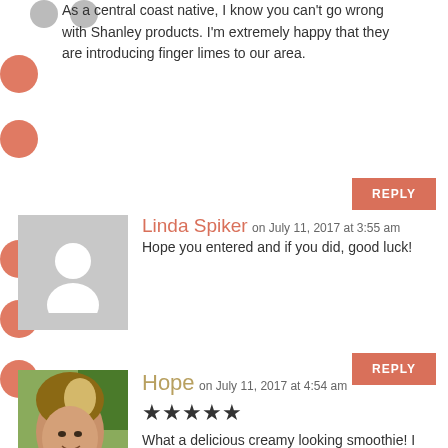As a central coast native, I know you can't go wrong with Shanley products. I'm extremely happy that they are introducing finger limes to our area.
REPLY
Linda Spiker on July 11, 2017 at 3:55 am
Hope you entered and if you did, good luck!
REPLY
Hope on July 11, 2017 at 4:54 am
[Figure (other): 5 filled star rating icons]
What a delicious creamy looking smoothie! I